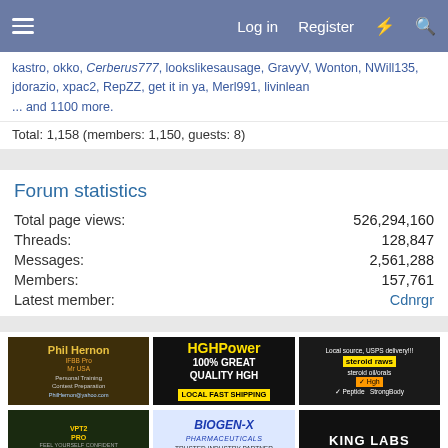Log in  Register
kastro, okko, Cerberus777, lookslikesausage, GravyV, Wonton, NWill135, jdorazio, xpac2, RepZZ, get it in ya, Merl991, livinlean ... and 1100 more.
Total: 1,158 (members: 1,150, guests: 8)
Forum statistics
Total page views: 526,294,160
Threads: 128,847
Messages: 2,561,288
Members: 157,761
Latest member: Cdnrgr
[Figure (photo): Phil Hernon IFBB Pro Mr USA Personal Training Contest Preparation advertisement]
[Figure (photo): HGHPower 100% Great Quality HGH Local Fast Shipping advertisement]
[Figure (photo): Local source USPS delivery steroid raws steroid oil/orals Hgh Peptide StrongBody advertisement]
[Figure (photo): VPT Pro advertisement with bodybuilder]
[Figure (photo): Biogen-X Pharmaceuticals Trusted Industry Partner For 10+ Years advertisement]
[Figure (photo): King Labs advertisement]